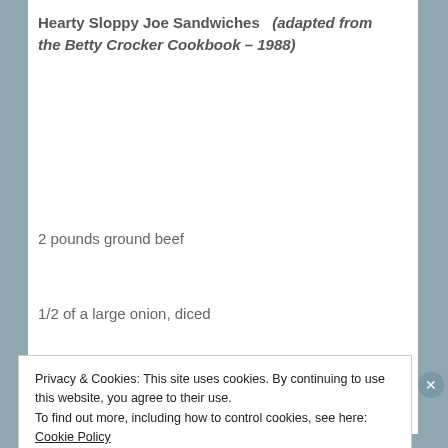Hearty Sloppy Joe Sandwiches (adapted from the Betty Crocker Cookbook – 1988)
2 pounds ground beef
1/2 of a large onion, diced
3 stalks celery, finely chopped
Privacy & Cookies: This site uses cookies. By continuing to use this website, you agree to their use.
To find out more, including how to control cookies, see here: Cookie Policy